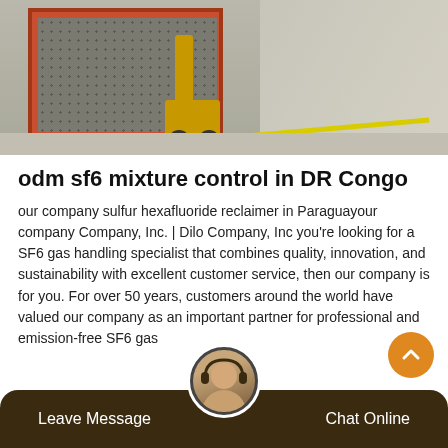[Figure (photo): Industrial SF6 gas handling equipment — a red metal cage unit on a yellow pallet jack/forklift in a warehouse setting]
odm sf6 mixture control in DR Congo
our company sulfur hexafluoride reclaimer in Paraguayour company Company, Inc. | Dilo Company, Inc you're looking for a SF6 gas handling specialist that combines quality, innovation, and sustainability with excellent customer service, then our company is for you. For over 50 years, customers around the world have valued our company as an important partner for professional and emission-free SF6 gas
Leave Message  Chat Online